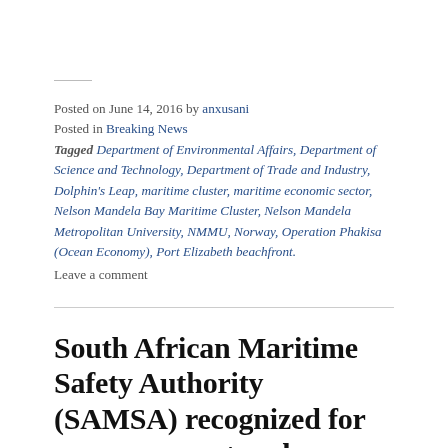Posted on June 14, 2016 by anxusani
Posted in Breaking News
Tagged Department of Environmental Affairs, Department of Science and Technology, Department of Trade and Industry, Dolphin's Leap, maritime cluster, maritime economic sector, Nelson Mandela Bay Maritime Cluster, Nelson Mandela Metropolitan University, NMMU, Norway, Operation Phakisa (Ocean Economy), Port Elizabeth beachfront.
Leave a comment
South African Maritime Safety Authority (SAMSA) recognized for empowerment and transformation